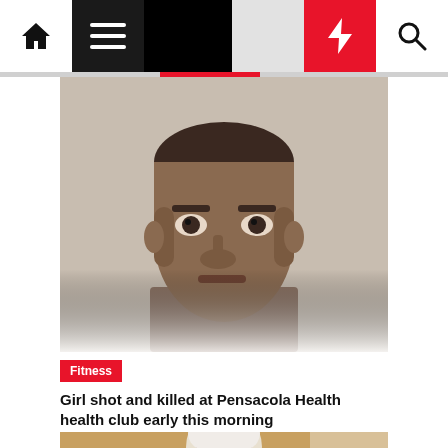Navigation bar with home, menu, moon, flash, and search icons
[Figure (photo): Close-up portrait photo of a Black man's face with short hair, neutral expression, against a light background]
Fitness
Girl shot and killed at Pensacola Health health club early this morning
2 months ago
[Figure (photo): Photo of a Black man with bleached white short hair and white earbuds, standing against a warm tan wall background]